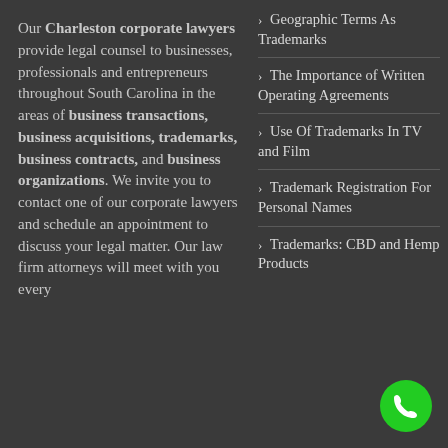Our Charleston corporate lawyers provide legal counsel to businesses, professionals and entrepreneurs throughout South Carolina in the areas of business transactions, business acquisitions, trademarks, business contracts, and business organizations. We invite you to contact one of our corporate lawyers and schedule an appointment to discuss your legal matter. Our law firm attorneys will meet with you every...
Geographic Terms As Trademarks
The Importance of Written Operating Agreements
Use Of Trademarks In TV and Film
Trademark Registration For Personal Names
Trademarks: CBD and Hemp Products